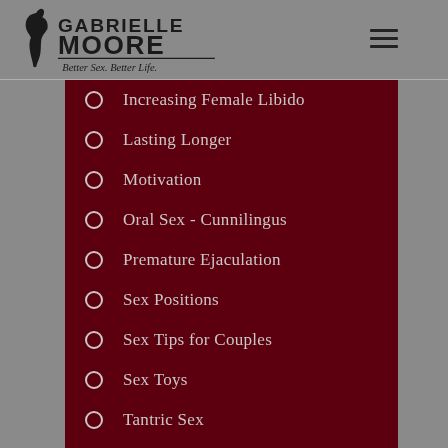Gabrielle Moore — Better Sex. Better Life.
Increasing Female Libido
Lasting Longer
Motivation
Oral Sex - Cunnilingus
Premature Ejaculation
Sex Positions
Sex Tips for Couples
Sex Toys
Tantric Sex
Uncategorized